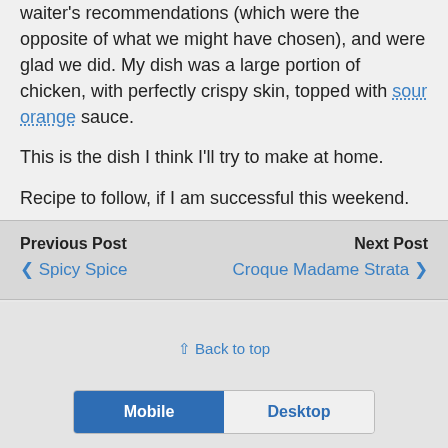waiter's recommendations (which were the opposite of what we might have chosen), and were glad we did. My dish was a large portion of chicken, with perfectly crispy skin, topped with sour orange sauce.
This is the dish I think I'll try to make at home.
Recipe to follow, if I am successful this weekend.
Previous Post ❮ Spicy Spice | Next Post Croque Madame Strata ❯
⇪ Back to top | Mobile | Desktop